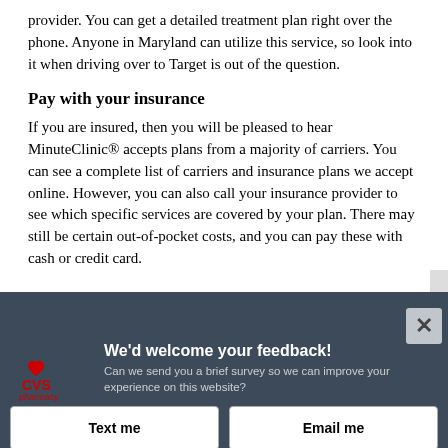provider. You can get a detailed treatment plan right over the phone. Anyone in Maryland can utilize this service, so look into it when driving over to Target is out of the question.
Pay with your insurance
If you are insured, then you will be pleased to hear MinuteClinic® accepts plans from a majority of carriers. You can see a complete list of carriers and insurance plans we accept online. However, you can also call your insurance provider to see which specific services are covered by your plan. There may still be certain out-of-pocket costs, and you can pay these with cash or credit card.
[Figure (screenshot): CVS Pharmacy survey overlay popup with dark background. Contains CVS Pharmacy logo, heading 'We'd welcome your feedback!', subtitle 'Can we send you a brief survey so we can improve your experience on this website?', two buttons labeled 'Text me' and 'Email me', a close button (X), and footer 'Powered by Verint Experience Cloud'.]